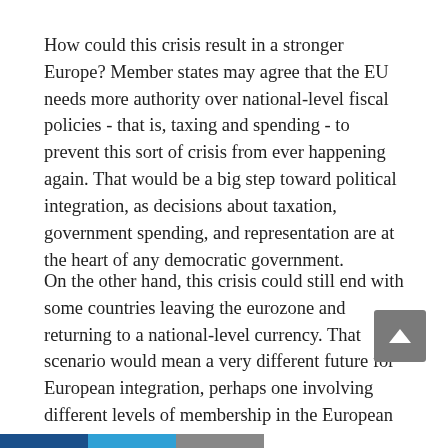How could this crisis result in a stronger Europe? Member states may agree that the EU needs more authority over national-level fiscal policies - that is, taxing and spending - to prevent this sort of crisis from ever happening again. That would be a big step toward political integration, as decisions about taxation, government spending, and representation are at the heart of any democratic government.
On the other hand, this crisis could still end with some countries leaving the eurozone and returning to a national-level currency. That scenario would mean a very different future for European integration, perhaps one involving different levels of membership in the European Union.